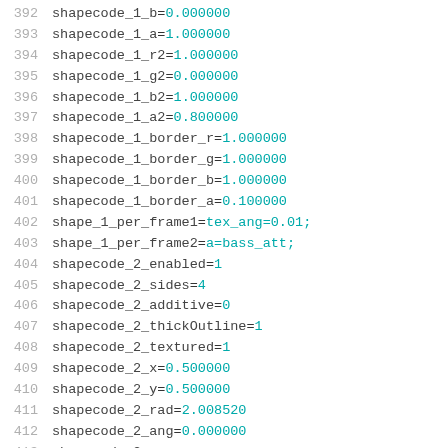392 shapecode_1_b=0.000000
393 shapecode_1_a=1.000000
394 shapecode_1_r2=1.000000
395 shapecode_1_g2=0.000000
396 shapecode_1_b2=1.000000
397 shapecode_1_a2=0.800000
398 shapecode_1_border_r=1.000000
399 shapecode_1_border_g=1.000000
400 shapecode_1_border_b=1.000000
401 shapecode_1_border_a=0.100000
402 shape_1_per_frame1=tex_ang=0.01;
403 shape_1_per_frame2=a=bass_att;
404 shapecode_2_enabled=1
405 shapecode_2_sides=4
406 shapecode_2_additive=0
407 shapecode_2_thickOutline=1
408 shapecode_2_textured=1
409 shapecode_2_x=0.500000
410 shapecode_2_y=0.500000
411 shapecode_2_rad=2.008520
412 shapecode_2_ang=0.000000
413 shapecode_2_...=0.000000